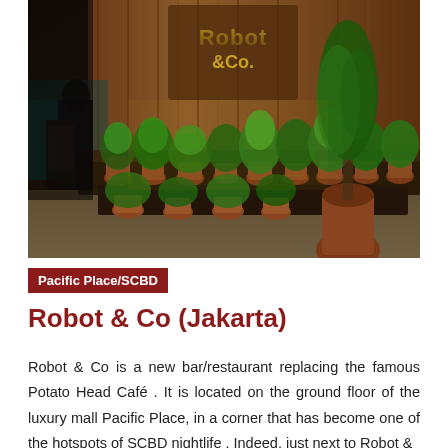[Figure (photo): Exterior/entrance of Robot & Co restaurant in Jakarta, showing a display of many potted plants arranged on a dark wooden bench/shelf, with a large wooden facade bearing the 'Robot & Co.' logo illuminated in the background, and a person visible on the left.]
Pacific Place/SCBD
Robot & Co (Jakarta)
Robot & Co is a new bar/restaurant replacing the famous Potato Head Café . It is located on the ground floor of the luxury mall Pacific Place, in a corner that has become one of the hotspots of SCBD nightlife . Indeed, just next to Robot &